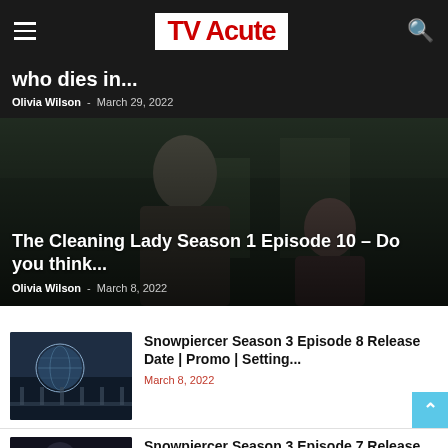TV Acute
who dies in...
Olivia Wilson  -  March 29, 2022
[Figure (photo): Dark film still showing two people, used as background for The Cleaning Lady article]
The Cleaning Lady Season 1 Episode 10 – Do you think...
Olivia Wilson  -  March 8, 2022
[Figure (photo): Thumbnail image for Snowpiercer Season 3 Episode 8 article, showing a globe/ornament scene]
Snowpiercer Season 3 Episode 8 Release Date | Promo | Setting...
March 8, 2022
[Figure (photo): Thumbnail image for Snowpiercer Season 3 Episode 7 article, dark scene]
Snowpiercer Season 3 Episode 7 Release Date | Promo | Ouroboros...